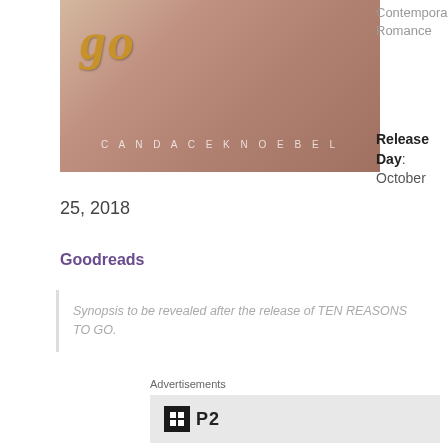[Figure (illustration): Book cover for a romance novel by Candace Knoebel, with warm peachy-tan tones, a stylized gold italic script title at top, and the author name 'CANDACE KNOEBEL' in spaced caps near the bottom.]
Contemporary Romance
Release Day: October 25, 2018
Goodreads
Synopsis to be revealed after the release of TEN REASONS TO GO.
Advertisements
[Figure (logo): P2 advertisement logo — a black square icon with a grid/box symbol, next to bold text 'P2']